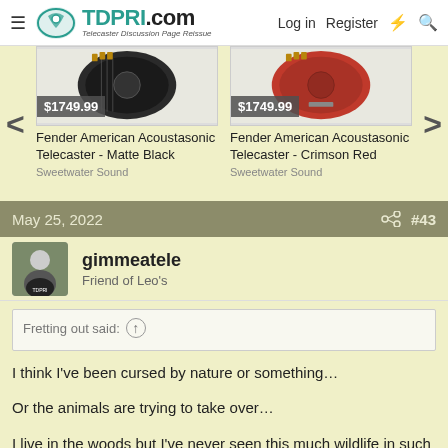TDPRI.com — Telecaster Discussion Page Reissue — Log in  Register
[Figure (photo): Fender American Acoustasonic Telecaster - Matte Black guitar product image, price $1749.99, sold by Sweetwater Sound]
Fender American Acoustasonic Telecaster - Matte Black
Sweetwater Sound
[Figure (photo): Fender American Acoustasonic Telecaster - Crimson Red guitar product image, price $1749.99, sold by Sweetwater Sound]
Fender American Acoustasonic Telecaster - Crimson Red
Sweetwater Sound
May 25, 2022  #43
gimmeatele
Friend of Leo's
Fretting out said:
I think I've been cursed by nature or something…

Or the animals are trying to take over…

I live in the woods but I've never seen this much wildlife in such a short span